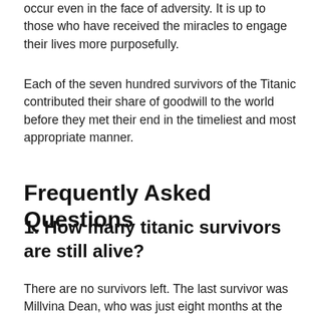occur even in the face of adversity. It is up to those who have received the miracles to engage their lives more purposefully.
Each of the seven hundred survivors of the Titanic contributed their share of goodwill to the world before they met their end in the timeliest and most appropriate manner.
Frequently Asked Questions
1. How many titanic survivors are still alive?
There are no survivors left. The last survivor was Millvina Dean, who was just eight months at the